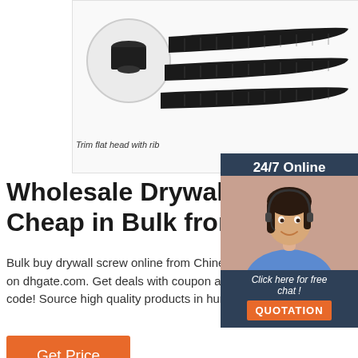[Figure (photo): Product photo showing black drywall screws (long shafts) with a circular inset showing a close-up of the trim flat head with rib detail. Caption reads 'Trim flat head with rib'.]
Trim flat head with rib
[Figure (photo): Chat support panel showing '24/7 Online' header in dark blue, a photo of a smiling female customer service agent wearing a headset and blue shirt, followed by 'Click here for free chat!' text and an orange QUOTATION button.]
Wholesale Drywall Screw Cheap in Bulk from China
Bulk buy drywall screw online from Chinese suppliers on dhgate.com. Get deals with coupon and discount code! Source high quality products in hundre...
Get Price
QUOTATION
24/7 Online
Click here for free chat !